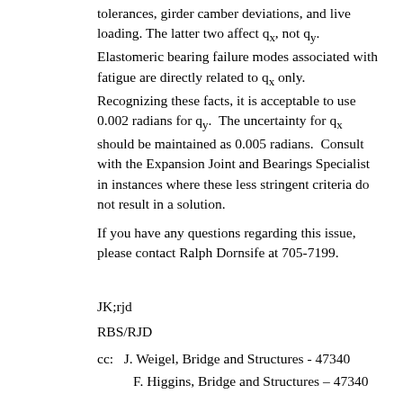tolerances, girder camber deviations, and live loading. The latter two affect q_x, not q_y. Elastomeric bearing failure modes associated with fatigue are directly related to q_x only. Recognizing these facts, it is acceptable to use 0.002 radians for q_y. The uncertainty for q_x should be maintained as 0.005 radians. Consult with the Expansion Joint and Bearings Specialist in instances where these less stringent criteria do not result in a solution.
If you have any questions regarding this issue, please contact Ralph Dornsife at 705-7199.
JK;rjd
RBS/RJD
cc:   J. Weigel, Bridge and Structures - 47340
F. Higgins, Bridge and Structures – 47340